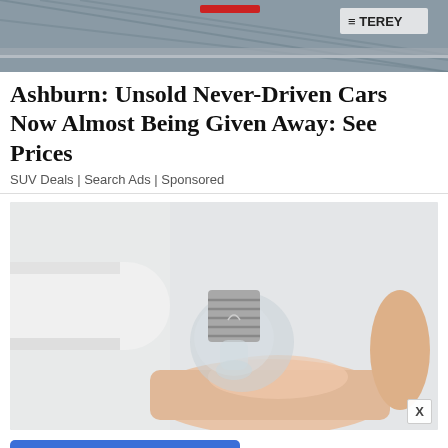[Figure (photo): Top banner image showing cars or metal fence/chain link background with a TEREY logo visible in upper right corner]
Ashburn: Unsold Never-Driven Cars Now Almost Being Given Away: See Prices
SUV Deals | Search Ads | Sponsored
[Figure (photo): Close-up photo of a hand holding a small clear/glass light bulb between fingers, with a white cylindrical object (tube) in the background]
NEXT »
on Newz Online